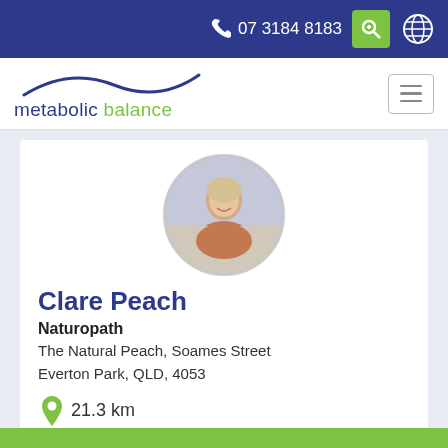07 3184 8183
[Figure (logo): Metabolic Balance logo with blue arc and green 'balance' text]
[Figure (photo): Circular profile photo of Clare Peach, a woman smiling behind a table with food and flowers]
Clare Peach
Naturopath
The Natural Peach, Soames Street
Everton Park, QLD, 4053
21.3 km
See Profile